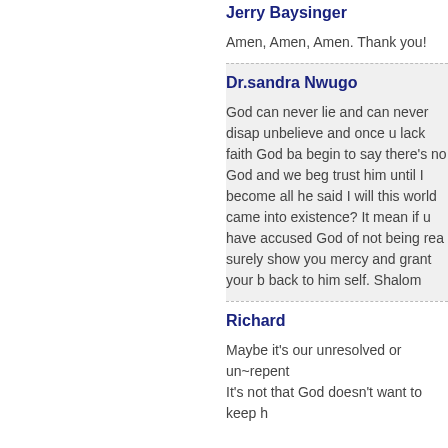Jerry Baysinger
Amen, Amen, Amen. Thank you!
Dr.sandra Nwugo
God can never lie and can never disapp... unbelieve and once u lack faith God ba... begin to say there's no God and we beg... trust him until I become all he said I will... this world came into existence? It mean... if u have accused God of not being rea... surely show you mercy and grant your b... back to him self. Shalom
Richard
Maybe it's our unresolved or un~repent... It's not that God doesn't want to keep h...